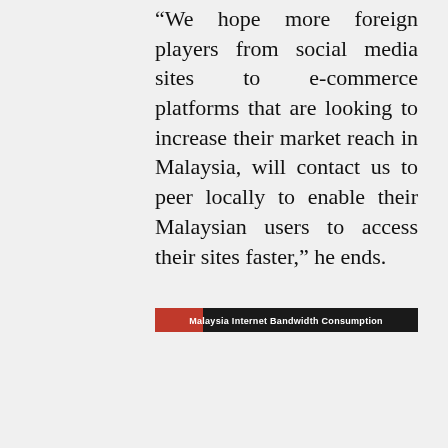“We hope more foreign players from social media sites to e-commerce platforms that are looking to increase their market reach in Malaysia, will contact us to peer locally to enable their Malaysian users to access their sites faster,” he ends.
[Figure (other): Chart header bar with dark background and red accent, titled 'Malaysia Internet Bandwidth Consumption']